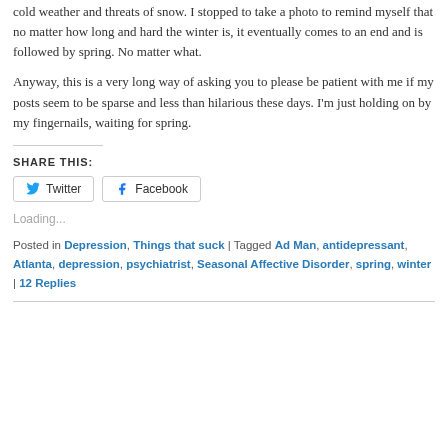cold weather and threats of snow. I stopped to take a photo to remind myself that no matter how long and hard the winter is, it eventually comes to an end and is followed by spring. No matter what.
Anyway, this is a very long way of asking you to please be patient with me if my posts seem to be sparse and less than hilarious these days. I'm just holding on by my fingernails, waiting for spring.
SHARE THIS:
Loading...
Posted in Depression, Things that suck | Tagged Ad Man, antidepressant, Atlanta, depression, psychiatrist, Seasonal Affective Disorder, spring, winter | 12 Replies